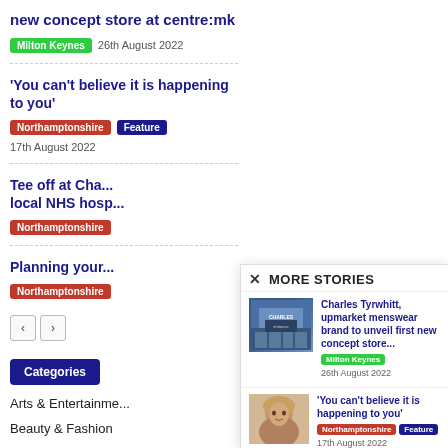new concept store at centre:mk
Milton Keynes   26th August 2022
'You can't believe it is happening to you'
Northamptonshire   Feature   17th August 2022
Tee off at Cha... local NHS hosp...
Northamptonshire
Planning your...
Northamptonshire
< >
Categories
Arts & Entertainme...
Beauty & Fashion
Business
MORE STORIES
[Figure (photo): Photo of Charles Tyrwhitt store front with staff standing outside]
Charles Tyrwhitt, upmarket menswear brand to unveil first new concept store...
Milton Keynes   26th August 2022
[Figure (photo): Close-up photo of a young person with blonde hair]
'You can't believe it is happening to you'
Northamptonshire   Feature   17th August 2022